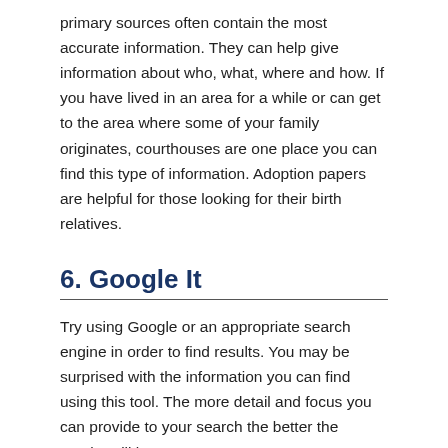primary sources often contain the most accurate information. They can help give information about who, what, where and how. If you have lived in an area for a while or can get to the area where some of your family originates, courthouses are one place you can find this type of information. Adoption papers are helpful for those looking for their birth relatives.
6. Google It
Try using Google or an appropriate search engine in order to find results. You may be surprised with the information you can find using this tool. The more detail and focus you can provide to your search the better the results will be.